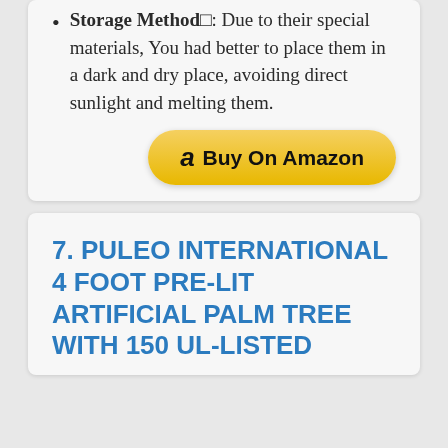Storage Method□: Due to their special materials, You had better to place them in a dark and dry place, avoiding direct sunlight and melting them.
[Figure (other): Buy On Amazon button with Amazon logo]
7. PULEO INTERNATIONAL 4 FOOT PRE-LIT ARTIFICIAL PALM TREE WITH 150 UL-LISTED